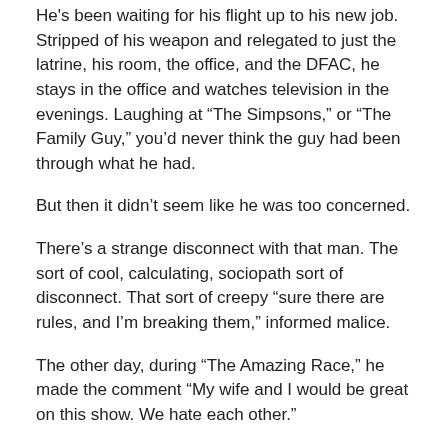He's been waiting for his flight up to his new job. Stripped of his weapon and relegated to just the latrine, his room, the office, and the DFAC, he stays in the office and watches television in the evenings. Laughing at “The Simpsons,” or “The Family Guy,” you’d never think the guy had been through what he had.
But then it didn’t seem like he was too concerned.
There’s a strange disconnect with that man. The sort of cool, calculating, sociopath sort of disconnect. That sort of creepy “sure there are rules, and I’m breaking them,” informed malice.
The other day, during “The Amazing Race,” he made the comment “My wife and I would be great on this show. We hate each other.”